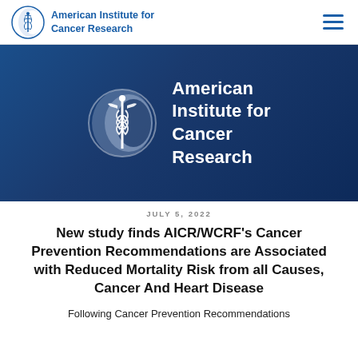American Institute for Cancer Research
[Figure (logo): American Institute for Cancer Research banner logo with white AICR caduceus symbol and text on dark blue gradient background]
JULY 5, 2022
New study finds AICR/WCRF’s Cancer Prevention Recommendations are Associated with Reduced Mortality Risk from all Causes, Cancer And Heart Disease
Following Cancer Prevention Recommendations